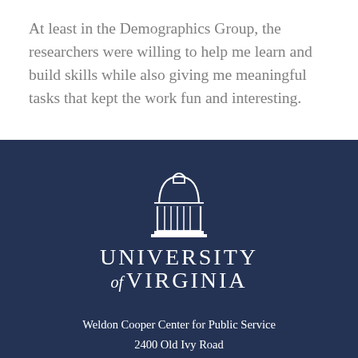At least in the Demographics Group, the researchers were willing to help me learn and build skills while also giving me meaningful tasks that kept the work fun and interesting.
[Figure (logo): University of Virginia logo with Rotunda dome icon above the text 'University of Virginia' in white on dark navy background]
Weldon Cooper Center for Public Service
2400 Old Ivy Road
Charlottesville, VA 22903